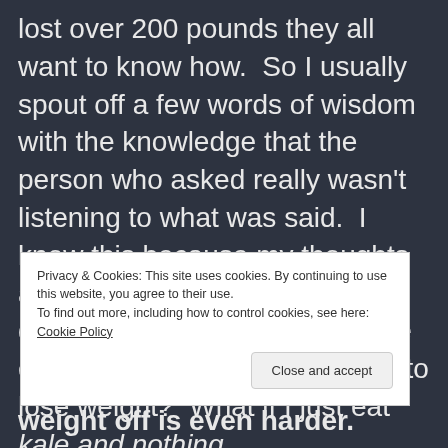lost over 200 pounds they all want to know how. So I usually spout off a few words of wisdom with the knowledge that the person who asked really wasn't listening to what was said. I know this because my thoughts and words have already been dismissed. Everyone wants the easy way out. Can I take a pill to lose weight? What if I just eat kale and nothing
Privacy & Cookies: This site uses cookies. By continuing to use this website, you agree to their use. To find out more, including how to control cookies, see here: Cookie Policy
weight off is even harder.